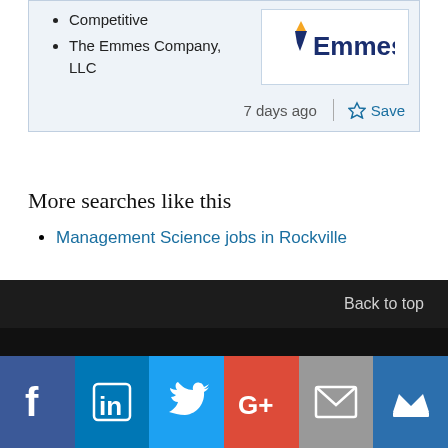Competitive
The Emmes Company, LLC
[Figure (logo): Emmes company logo with torch icon and text 'Emmes' in dark blue]
7 days ago
Save
More searches like this
Management Science jobs in Rockville
Back to top
[Figure (infographic): Social media icons bar: Facebook, LinkedIn, Twitter, Google+, Email, Crown]